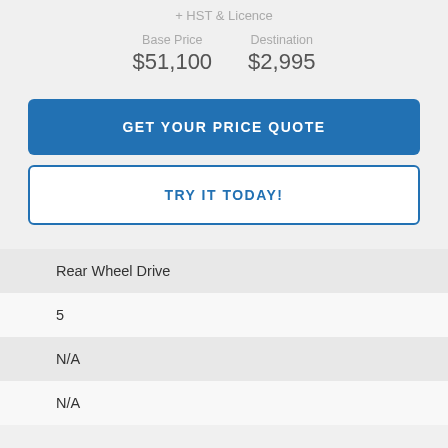+ HST & Licence
Base Price $51,100
Destination $2,995
GET YOUR PRICE QUOTE
TRY IT TODAY!
Rear Wheel Drive
5
N/A
N/A